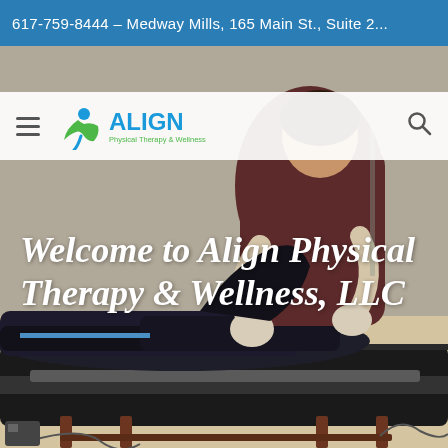617-759-8444 – Medway Mills, 165 Main St., Suite 2...
[Figure (logo): Align Physical Therapy & Wellness logo with green figure icon and blue/green text]
[Figure (photo): A physical therapist treating a patient lying on a treatment table, performing leg/knee manipulation in a clinical room]
Welcome to Align Physical Therapy & Wellness, LLC